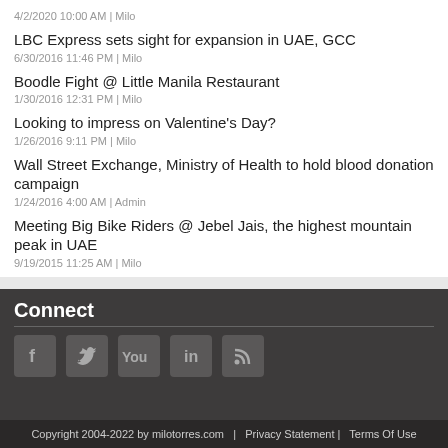4/2/2020 10:00 AM | Milo
LBC Express sets sight for expansion in UAE, GCC
6/30/2016 11:46 PM | Milo
Boodle Fight @ Little Manila Restaurant
1/30/2016 12:31 PM | Milo
Looking to impress on Valentine's Day?
1/26/2016 9:11 PM | Milo
Wall Street Exchange, Ministry of Health to hold blood donation campaign
1/24/2016 4:00 AM | Admin
Meeting Big Bike Riders @ Jebel Jais, the highest mountain peak in UAE
9/19/2015 11:25 AM | Milo
Connect
[Figure (infographic): Social media icons: Facebook, Twitter, YouTube, LinkedIn, RSS]
Copyright 2004-2022 by milotorres.com  |  Privacy Statement |  Terms Of Use